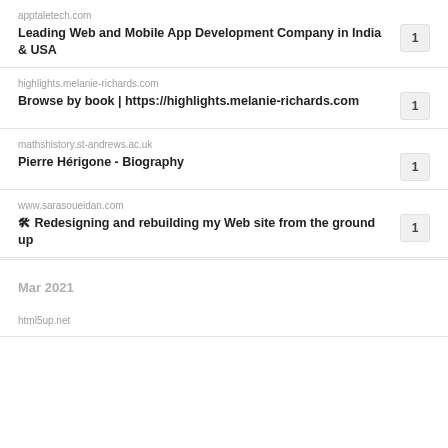apptaletech.com
Leading Web and Mobile App Development Company in India & USA
highlights.melanie-richards.com
Browse by book | https://highlights.melanie-richards.com
mathshistory.st-andrews.ac.uk
Pierre Hérigone - Biography
www.sarasoueidan.com
🛠 Redesigning and rebuilding my Web site from the ground up
Mar 2021
html5up.net